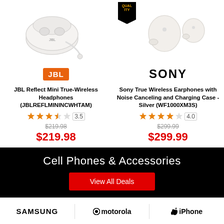[Figure (photo): JBL Reflect Mini True-Wireless earphones in white with charging case, shown on white background]
[Figure (photo): Sony WF-1000XM3 True Wireless Earphones in silver/champagne color, showing two earbuds, on white background with a quality badge in top left corner]
[Figure (logo): JBL orange logo box with white JBL text]
[Figure (logo): SONY wordmark in bold black text]
JBL Reflect Mini True-Wireless Headphones (JBLREFLMININCWHTAM)
Sony True Wireless Earphones with Noise Canceling and Charging Case - Silver (WF1000XM3S)
3.5 stars rating
4.0 stars rating
$219.98 (original price, strikethrough)
$219.98 (sale price)
$299.99 (original price, strikethrough)
$299.99 (sale price)
Cell Phones & Accessories
View All Deals
[Figure (logo): Samsung logo in bold uppercase black text]
[Figure (logo): Motorola logo with circle M icon and motorola text]
[Figure (logo): iPhone logo with Apple icon]